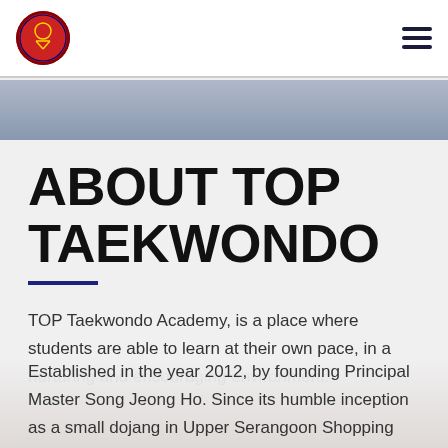TOP Taekwondo Academy logo and navigation menu
[Figure (illustration): Hero banner: grey gradient banner strip below the navigation header]
ABOUT TOP TAEKWONDO
TOP Taekwondo Academy, is a place where students are able to learn at their own pace, in a nurturing and encouraging environment.
Established in the year 2012, by founding Principal Master Song Jeong Ho. Since its humble inception as a small dojang in Upper Serangoon Shopping Centre, the dojang has grown to establish its presence in the local Taekwondo scene,